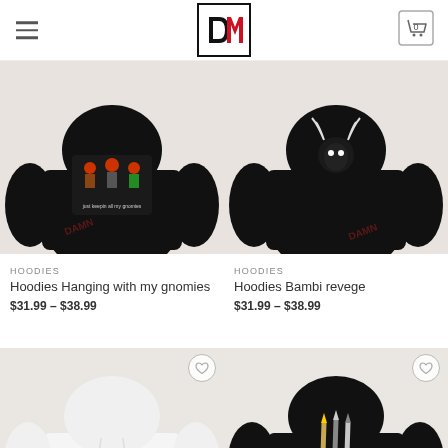DM logo store header with hamburger menu and cart showing 0
[Figure (photo): Black hoodie with gnomes graphic - Hoodies Hanging with my gnomies]
[Figure (photo): Black hoodie with Bambi/deer graphic - Hoodies Bambi revege]
HOODIES
Hoodies Hanging with my gnomies
$31.99 – $38.99
HOODIES
Hoodies Bambi revege
$31.99 – $38.99
[Figure (photo): White hoodie with LOVE YOUR text]
[Figure (photo): Black hoodie with pencils/brushes graphic]